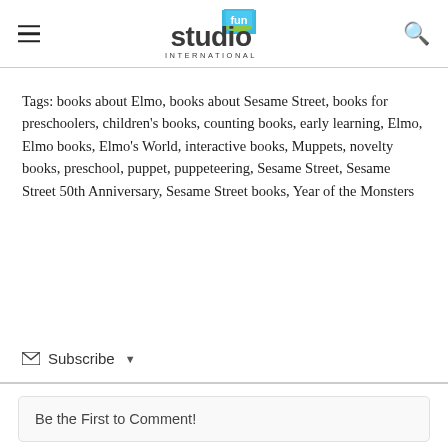Studio Fun International
Tags: books about Elmo, books about Sesame Street, books for preschoolers, children's books, counting books, early learning, Elmo, Elmo books, Elmo's World, interactive books, Muppets, novelty books, preschool, puppet, puppeteering, Sesame Street, Sesame Street 50th Anniversary, Sesame Street books, Year of the Monsters
✉ Subscribe ▾
Be the First to Comment!